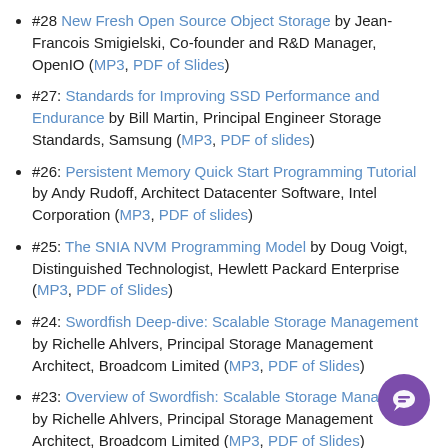#28 New Fresh Open Source Object Storage by Jean-Francois Smigielski, Co-founder and R&D Manager, OpenIO (MP3, PDF of Slides)
#27: Standards for Improving SSD Performance and Endurance by Bill Martin, Principal Engineer Storage Standards, Samsung (MP3, PDF of slides)
#26: Persistent Memory Quick Start Programming Tutorial by Andy Rudoff, Architect Datacenter Software, Intel Corporation (MP3, PDF of slides)
#25: The SNIA NVM Programming Model by Doug Voigt, Distinguished Technologist, Hewlett Packard Enterprise (MP3, PDF of Slides)
#24: Swordfish Deep-dive: Scalable Storage Management by Richelle Ahlvers, Principal Storage Management Architect, Broadcom Limited (MP3, PDF of Slides)
#23: Overview of Swordfish: Scalable Storage Management by Richelle Ahlvers, Principal Storage Management Architect, Broadcom Limited (MP3, PDF of Slides)
#22: Hyperscaler Storage by Mark Carlson, Principal